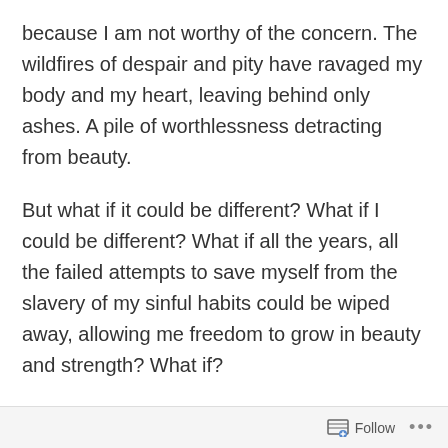because I am not worthy of the concern. The wildfires of despair and pity have ravaged my body and my heart, leaving behind only ashes. A pile of worthlessness detracting from beauty.
But what if it could be different? What if I could be different? What if all the years, all the failed attempts to save myself from the slavery of my sinful habits could be wiped away, allowing me freedom to grow in beauty and strength? What if?
I've all but given up hope. All but. I have one last chance to salvage this body of mine, to allow the forest of my soul to flourish and grow fresh, renewed, beautiful as my Creator intended.
Follow ···